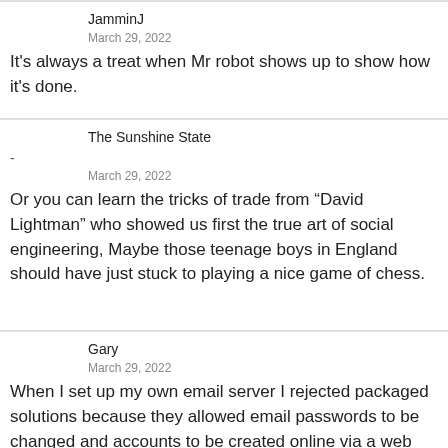JamminJ
March 29, 2022
It's always a treat when Mr robot shows up to show how it's done.
The Sunshine State
-
March 29, 2022
Or you can learn the tricks of trade from “David Lightman” who showed us first the true art of social engineering, Maybe those teenage boys in England should have just stuck to playing a nice game of chess.
Gary
March 29, 2022
When I set up my own email server I rejected packaged solutions because they allowed email passwords to be changed and accounts to be created online via a web interface. I create